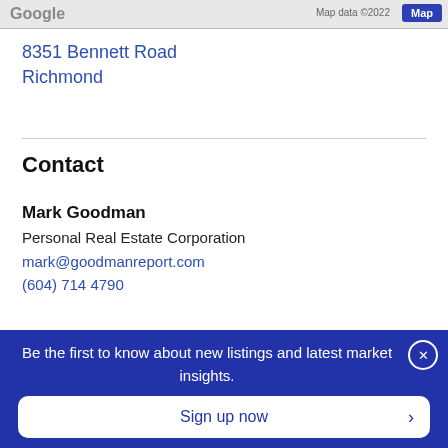[Figure (map): Google Maps partial screenshot with map data ©2022 label and Map button]
8351 Bennett Road
Richmond
Contact
Mark Goodman
Personal Real Estate Corporation
mark@goodmanreport.com
(604) 714 4790
Ask us about this listing
Be the first to know about new listings and latest market insights.
Sign up now